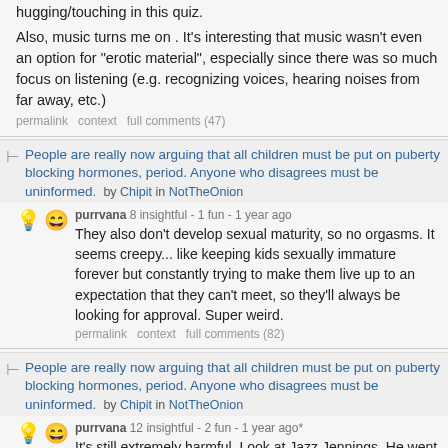hugging/touching in this quiz.
Also, music turns me on . It's interesting that music wasn't even an option for "erotic material", especially since there was so much focus on listening (e.g. recognizing voices, hearing noises from far away, etc.)
permalink   context   full comments (47)
People are really now arguing that all children must be put on puberty blocking hormones, period. Anyone who disagrees must be uninformed.   by Chipit in NotTheOnion
purrvana 8 insightful - 1 fun - 1 year ago
They also don't develop sexual maturity, so no orgasms. It seems creepy... like keeping kids sexually immature forever but constantly trying to make them live up to an expectation that they can't meet, so they'll always be looking for approval. Super weird.
permalink   context   full comments (82)
People are really now arguing that all children must be put on puberty blocking hormones, period. Anyone who disagrees must be uninformed.   by Chipit in NotTheOnion
purrvana 12 insightful - 2 fun - 1 year ago*
It's still extremely harmful. Look at Jazz Jennings. He went on puberty blockers and therefore only ever grew